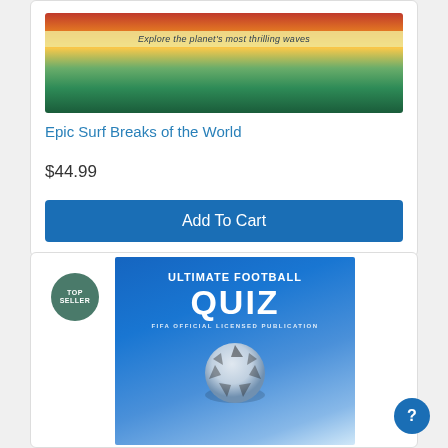[Figure (illustration): Book cover for 'Epic Surf Breaks of the World' showing colorful tropical surf scene with waves, foliage, and the text 'Explore the planet's most thrilling waves']
Epic Surf Breaks of the World
$44.99
Add To Cart
[Figure (illustration): Book cover for 'Ultimate Football Quiz - FIFA Official Licensed Publication' showing bold white text on blue background with a football/soccer ball globe at the bottom, with a 'TOP SELLER' badge]
TOP SELLER